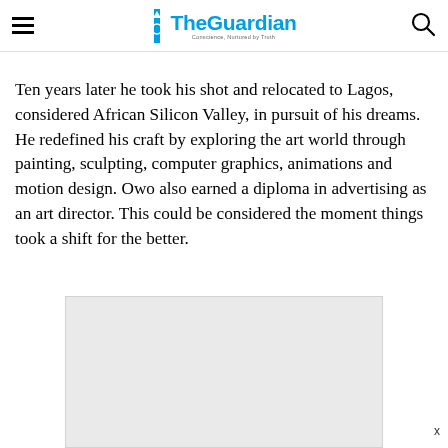The Guardian — Conscience, Nurtured by Truth
Ten years later he took his shot and relocated to Lagos, considered African Silicon Valley, in pursuit of his dreams. He redefined his craft by exploring the art world through painting, sculpting, computer graphics, animations and motion design. Owo also earned a diploma in advertising as an art director. This could be considered the moment things took a shift for the better.
[Figure (other): Advertisement placeholder box (grey rectangle)]